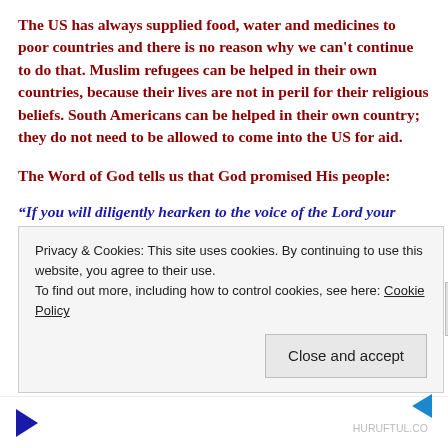The US has always supplied food, water and medicines to poor countries and there is no reason why we can't continue to do that. Muslim refugees can be helped in their own countries, because their lives are not in peril for their religious beliefs. South Americans can be helped in their own country; they do not need to be allowed to come into the US for aid.
The Word of God tells us that God promised His people:
“If you will diligently hearken to the voice of the Lord your God, and will do that which is right in His sight and
Privacy & Cookies: This site uses cookies. By continuing to use this website, you agree to their use.
To find out more, including how to control cookies, see here: Cookie Policy
Close and accept